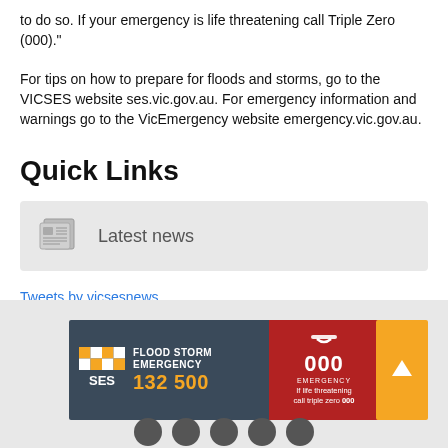to do so. If your emergency is life threatening call Triple Zero (000)."
For tips on how to prepare for floods and storms, go to the VICSES website ses.vic.gov.au. For emergency information and warnings go to the VicEmergency website emergency.vic.gov.au.
Quick Links
[Figure (infographic): Latest news quick link button with newspaper icon]
Tweets by vicsesnews
[Figure (infographic): SES Flood Storm Emergency 132 500 banner with 000 emergency and upward arrow button]